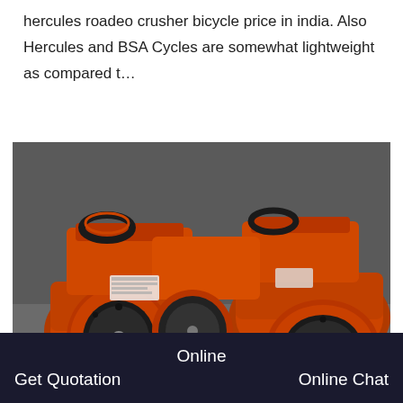hercules roadeo crusher bicycle price in india. Also Hercules and BSA Cycles are somewhat lightweight as compared t…
[Figure (photo): Multiple orange-painted industrial crusher machines lined up in a row, showing their large flywheels, drive wheels, and mechanical housings. The machines appear to be jaw crushers or hammer mill crushers painted bright orange with black rubber-coated wheels.]
Online
Get Quotation
Online Chat